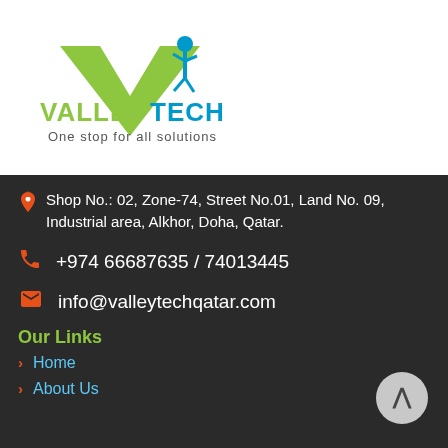[Figure (logo): Valley Tech logo — green and blue V-shape with a running figure, text 'VALLEY TECH' in green and blue, tagline 'One stop for all solutions']
Shop No.: 02, Zone-74, Street No.01, Land No. 09, Industrial area, Alkhor, Doha, Qatar.
+974 66687635 / 74013445
info@valleytechqatar.com
Our Links
Home
About Us